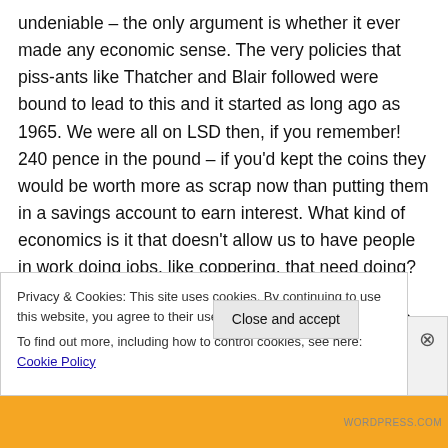undeniable – the only argument is whether it ever made any economic sense.  The very policies that piss-ants like Thatcher and Blair followed were bound to lead to this and it started as long ago as 1965.  We were all on LSD then, if you remember!  240 pence in the pound – if you'd kept the coins they would be worth more as scrap now than putting them in a savings account to earn interest.  What kind of economics is it that doesn't allow us to have people in work doing jobs, like coppering, that need doing?  For that matter, who is frightened of full employment?  We haven't had it since around 1970
Privacy & Cookies: This site uses cookies. By continuing to use this website, you agree to their use.
To find out more, including how to control cookies, see here: Cookie Policy
Close and accept